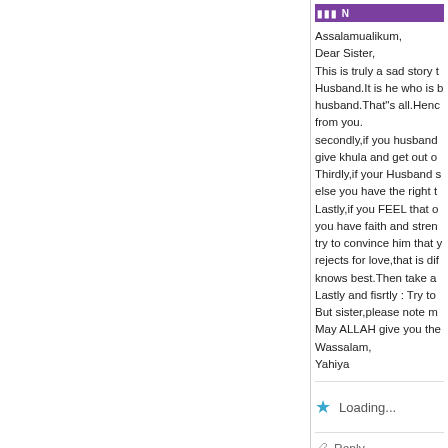[Figure (other): Purple/maroon colored avatar/username banner at top of comment]
Assalamualikum,
Dear Sister,
This is truly a sad story t
Husband.It is he who is b
husband.That"s all.Henc
from you.
secondly,if you husband
give khula and get out o
Thirdly,if your Husband s
else you have the right t
Lastly,if you FEEL that o
you have faith and stren
try to convince him that y
rejects for love,that is dif
knows best.Then take a
Lastly and fisrtly : Try to
But sister,please note m
May ALLAH give you the
Wassalam,
Yahiya
Loading...
Reply